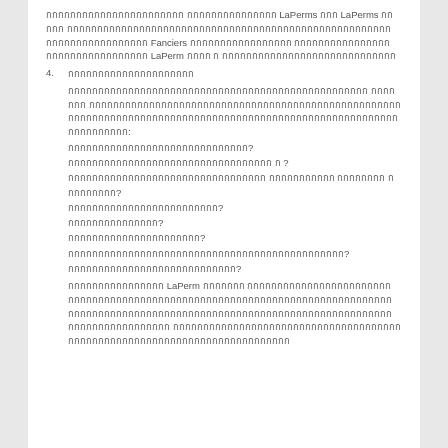กกกกกกกกกกกกกกกกกกกกกกก กกกกกกกกกกกกกกก LaPerms กกก LaPerms กกกกก กกกกกกกกกกกกกกกกกกกกกกกกกกกกกกกกกกกกกกกกกกกกกกกกกกกกกกกกกกกกกกกกกกกกกกก Fanciers กกกกกกกกกกกกกกกกก กกกกกกกกกกกกกกกกกกกกกกกกกกกกกกกกก LaPerm กกกก ก กกกกกกกกกกกกกกกกกกกกกกกกกกกกก
4. กกกกกกกกกกกกกกกกกกกกก
กกกกกกกกกกกกกกกกกกกกกกกกกกกกกกกกกกกกกกกกกกกกกกกกกก กกกกกกก กกกกกกกกกกกกกกกกกกกกกกกกกกกกกกกกกกกกกกกกกกกกกกกกกกกกกกกกกกกกกกกกกกกกกกกกกกกกกกกกกกกกกกกกกกกกกกกกกกกกกกกกกกก กกกกกกกกกก:
กกกกกกกกกกกกกกกกกกกกกกกกกกกกกก?
กกกกกกกกกกกกกกกกกกกกกกกกกกกกกกกกกก ก ?
กกกกกกกกกกกกกกกกกกกกกกกกกกกกกกกกก กกกกกกกกกกก กกกกกกกก ก กกกกกกกก?
กกกกกกกกกกกกกกกกกกกกกกกกก?
กกกกกกกกกกกกกกก?
กกกกกกกกกกกกกกกกกกกกกก?
กกกกกกกกกกกกกกกกกกกกกกกกกกกกกกกกกกกกกกกกกกกกกก?
กกกกกกกกกกกกกกกกกกกกกกกกกกกก?
กกกกกกกกกกกกกกกก LaPerm กกกกกกก กกกกกกกกกกกกกกกกกกกกกกกกกกกกกกกกกกกกกกกกกกกกกกกกกกกกกกกกกกกกกกกกกกกกกกกกกกกกกกกกกกกกกกกกกกกกกกกกกกกกกกกกกกกกกกกกกกกกกกกกกกกกกกกกกกกกกกกกกกกกกกกกกกกกก กกกกกกกกกกกกกกกกกกกกกกกกกกกกกกกกกกกกกกกกกกกกกกกกกกกกกกกกกกกกกกกกกกกกกกกกกกก